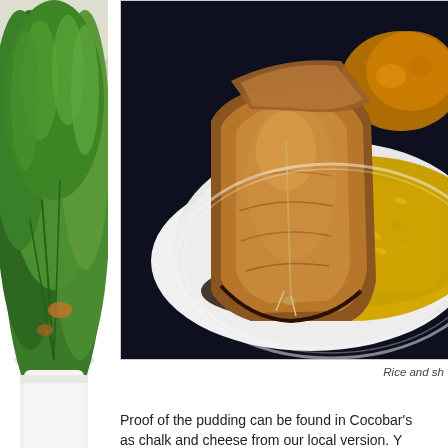[Figure (photo): Left side partial photo of a salad with green leaves and microgreens in a white container, against a light stone background]
[Figure (photo): Photo of fried fish fillet served on a white oval plate with yellow/turmeric rice, on a dark background]
Rice and sh
Proof of the pudding can be found in Cocobar's as chalk and cheese from our local version. Y